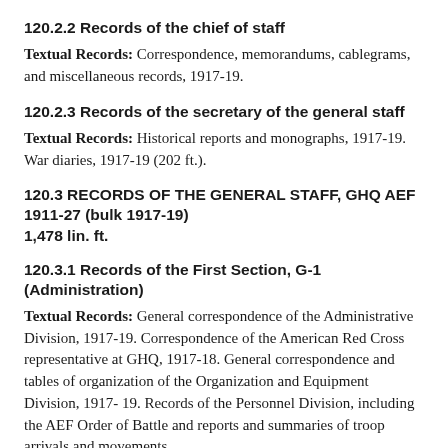120.2.2 Records of the chief of staff
Textual Records: Correspondence, memorandums, cablegrams, and miscellaneous records, 1917-19.
120.2.3 Records of the secretary of the general staff
Textual Records: Historical reports and monographs, 1917-19. War diaries, 1917-19 (202 ft.).
120.3 RECORDS OF THE GENERAL STAFF, GHQ AEF 1911-27 (bulk 1917-19)
1,478 lin. ft.
120.3.1 Records of the First Section, G-1 (Administration)
Textual Records: General correspondence of the Administrative Division, 1917-19. Correspondence of the American Red Cross representative at GHQ, 1917-18. General correspondence and tables of organization of the Organization and Equipment Division, 1917-19. Records of the Personnel Division, including the AEF Order of Battle and reports and summaries of troop arrivals and movements,